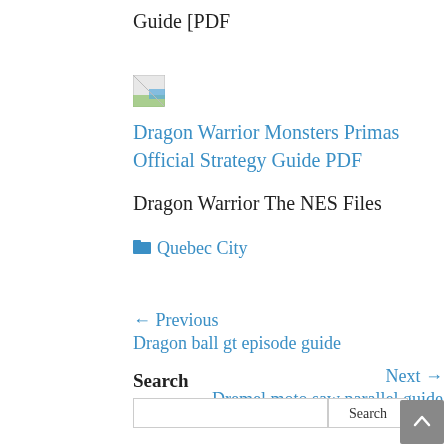Guide [PDF
[Figure (illustration): Small broken/placeholder image icon]
Dragon Warrior Monsters Primas Official Strategy Guide PDF
Dragon Warrior The NES Files
Quebec City
← Previous
Dragon ball gt episode guide
Next →
Dremel moto saw parallel guide
Search
Search button